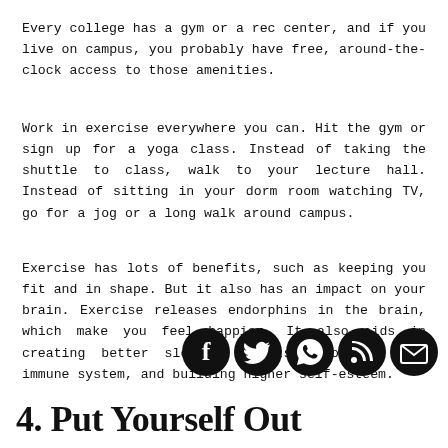Every college has a gym or a rec center, and if you live on campus, you probably have free, around-the-clock access to those amenities.
Work in exercise everywhere you can. Hit the gym or sign up for a yoga class. Instead of taking the shuttle to class, walk to your lecture hall. Instead of sitting in your dorm room watching TV, go for a jog or a long walk around campus.
Exercise has lots of benefits, such as keeping you fit and in shape. But it also has an impact on your brain. Exercise releases endorphins in the brain, which make you feel happier. It also aids in creating better sleeping habits, boosting your immune system, and building higher self-esteem.
[Figure (infographic): Five social media icon buttons: Facebook, Twitter, WhatsApp, RSS, and Email, displayed as black circles with white icons]
4. Put Yourself Out